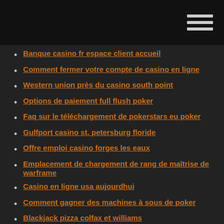Banque casino fr espace client accueil
Comment fermer votre compte de casino en ligne
Western union près du casino south point
Options de paiement full flush poker
Faq sur le téléchargement de pokerstars eu poker
Gulfport casino st. petersburg floride
Offre emploi casino forges les eaux
Emplacement de chargement de rang de maîtrise de warframe
Casino en ligne usa aujourdhui
Comment gagner des machines à sous de poker
Blackjack pizza colfax et williams
Machines à sous de casino gratuites avec des tours gratuits